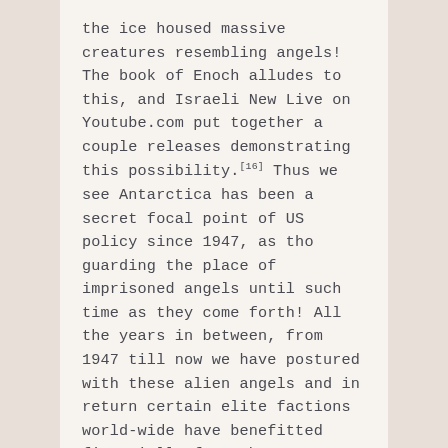the ice housed massive creatures resembling angels! The book of Enoch alludes to this, and Israeli New Live on Youtube.com put together a couple releases demonstrating this possibility.[16] Thus we see Antarctica has been a secret focal point of US policy since 1947, as tho guarding the place of imprisoned angels until such time as they come forth! All the years in between, from 1947 till now we have postured with these alien angels and in return certain elite factions world-wide have benefitted financially from the association.